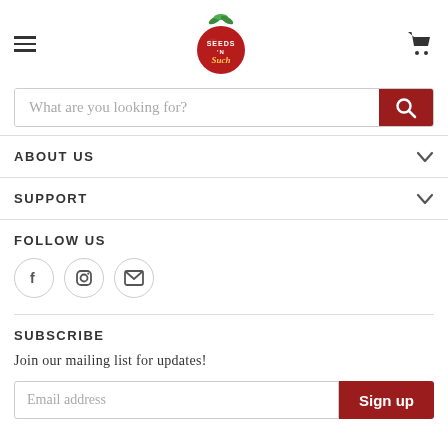[Figure (logo): Seeds N Such tomato logo with green leaves on top]
ABOUT US
SUPPORT
FOLLOW US
[Figure (infographic): Three social media icons: Facebook (f), Instagram (camera), Email (envelope)]
SUBSCRIBE
Join our mailing list for updates!